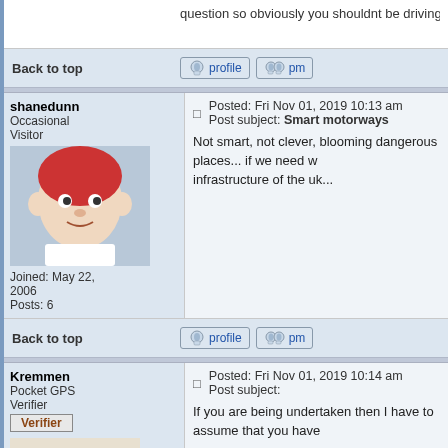question so obviously you shouldnt be driving either if you dont k
Back to top
shanedunn
Occasional Visitor
Joined: May 22, 2006
Posts: 6
Posted: Fri Nov 01, 2019 10:13 am   Post subject: Smart motorways
Not smart, not clever, blooming dangerous places... if we need w infrastructure of the uk...
Back to top
Kremmen
Pocket GPS Verifier
Joined: Mar 03, 2006
Posts: 6692
Location: West
Posted: Fri Nov 01, 2019 10:14 am   Post subject:
If you are being undertaken then I have to assume that you have
Satnav:
Garmin DS61 LMT-D (In the car)
Garmin 2599 LMT-D (Indoor test rig)
DashCam:
Viofo A119 V3